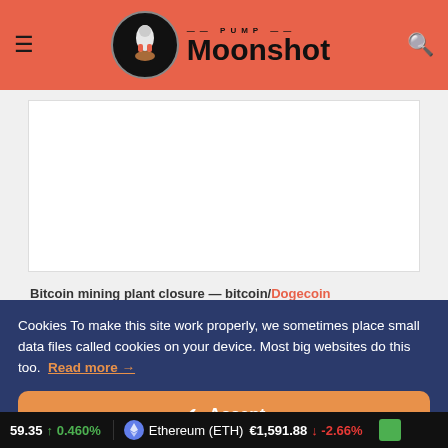Pump Moonshot
[Figure (other): White content image placeholder box]
Bitcoin mining plant closure — bitcoin/Dogecoin mining machines
Cookies To make this site work properly, we sometimes place small data files called cookies on your device. Most big websites do this too. Read more →
✔ Accept
Cookies Settings ⚙
59.35 ↑ 0.460% Ethereum (ETH) €1,591.88 ↓ -2.66%